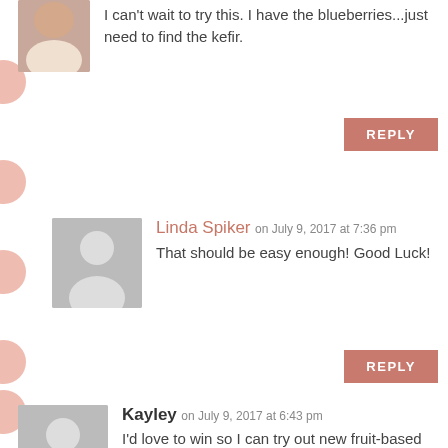I can't wait to try this. I have the blueberries...just need to find the kefir.
REPLY
Linda Spiker on July 9, 2017 at 7:36 pm
That should be easy enough! Good Luck!
REPLY
Kayley on July 9, 2017 at 6:43 pm
I'd love to win so I can try out new fruit-based recipes to fit my new vegan lifestyle!
REPLY